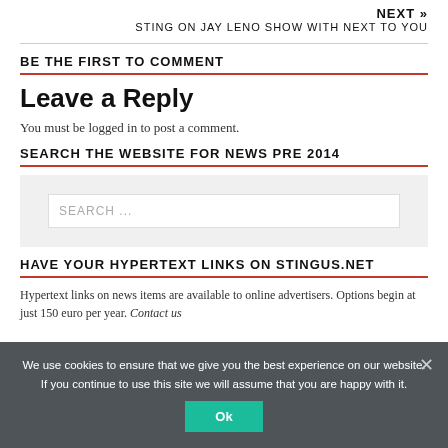NEXT » STING ON JAY LENO SHOW WITH NEXT TO YOU
BE THE FIRST TO COMMENT
Leave a Reply
You must be logged in to post a comment.
SEARCH THE WEBSITE FOR NEWS PRE 2014
[Figure (other): Search input box with placeholder text SEARCH ...]
HAVE YOUR HYPERTEXT LINKS ON STINGUS.NET
Hypertext links on news items are available to online advertisers. Options begin at just 150 euro per year. Contact us
We use cookies to ensure that we give you the best experience on our website. If you continue to use this site we will assume that you are happy with it.